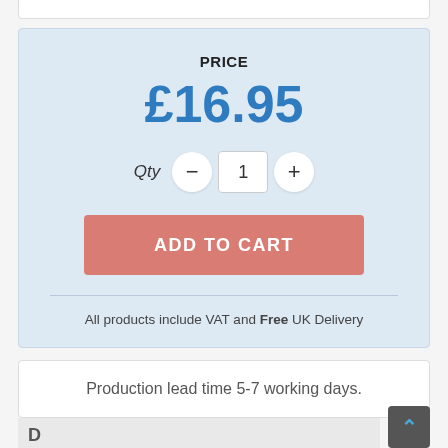PRICE
£16.95
Qty 1
ADD TO CART
All products include VAT and Free UK Delivery
Production lead time 5-7 working days.